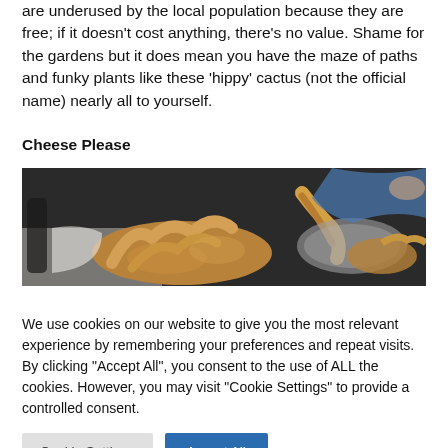are underused by the local population because they are free; if it doesn't cost anything, there's no value. Shame for the gardens but it does mean you have the maze of paths and funky plants like these 'hippy' cactus (not the official name) nearly all to yourself.
Cheese Please
[Figure (photo): A photo of fried food items, possibly cheese or battered snacks, being held or lifted, with plates visible in the background.]
We use cookies on our website to give you the most relevant experience by remembering your preferences and repeat visits. By clicking "Accept All", you consent to the use of ALL the cookies. However, you may visit "Cookie Settings" to provide a controlled consent.